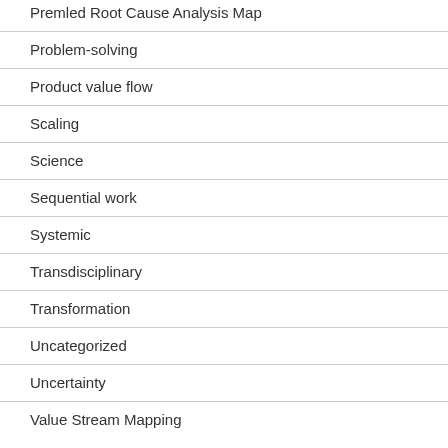Premled Root Cause Analysis Map
Problem-solving
Product value flow
Scaling
Science
Sequential work
Systemic
Transdisciplinary
Transformation
Uncategorized
Uncertainty
Value Stream Mapping